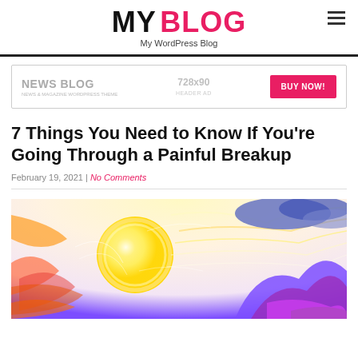MY BLOG — My WordPress Blog
[Figure (illustration): Advertisement banner for News Blog WordPress theme, 728x90 header ad with BUY NOW! button]
7 Things You Need to Know If You're Going Through a Painful Breakup
February 19, 2021 | No Comments
[Figure (illustration): Colorful artistic illustration of a sun with swirling rays over mountains, with yellow, orange, red, purple, and blue colors in a crayon/pastel drawing style]